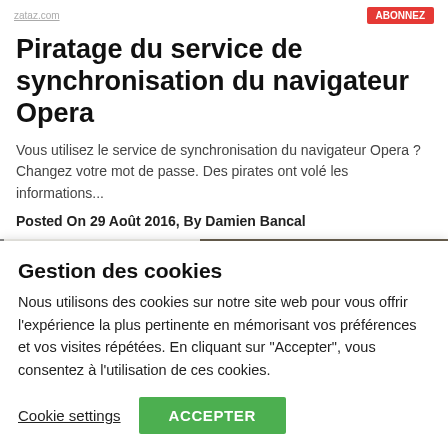Piratage du service de synchronisation du navigateur Opera
Vous utilisez le service de synchronisation du navigateur Opera ? Changez votre mot de passe. Des pirates ont volé les informations...
Posted On 29 Août 2016, By Damien Bancal
[Figure (photo): Banner image showing U.S. Marshals Service badges and law enforcement insignia]
Gestion des cookies
Nous utilisons des cookies sur notre site web pour vous offrir l'expérience la plus pertinente en mémorisant vos préférences et vos visites répétées. En cliquant sur "Accepter", vous consentez à l'utilisation de ces cookies.
Cookie settings | ACCEPTER